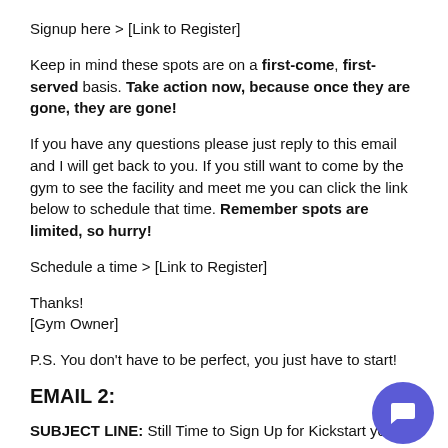Signup here > [Link to Register]
Keep in mind these spots are on a first-come, first-served basis. Take action now, because once they are gone, they are gone!
If you have any questions please just reply to this email and I will get back to you. If you still want to come by the gym to see the facility and meet me you can click the link below to schedule that time. Remember spots are limited, so hurry!
Schedule a time > [Link to Register]
Thanks!
[Gym Owner]
P.S. You don't have to be perfect, you just have to start!
EMAIL 2:
SUBJECT LINE: Still Time to Sign Up for Kickstart your Fi...